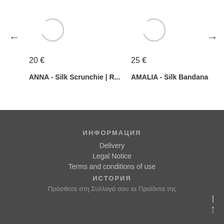[Figure (other): Loading spinner circle icon for product 1]
20 €
ANNA - Silk Scrunchie | R...
[Figure (other): Loading spinner circle icon for product 2]
25 €
AMALIA - Silk Bandana
ИНФОРМАЦИЯ
Delivery
Legal Notice
Terms and conditions of use
ИСТОРИЯ
Πρόσθεσε στη Συλλογά σου τα Προϊόντα της